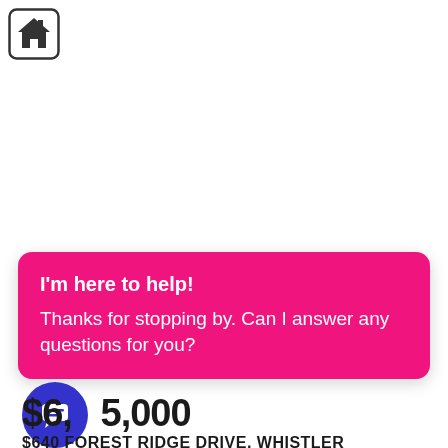[Figure (logo): Home icon in a rounded square border]
I'm here to help!
Thanks for stopping by. Can I answer any questions for you?
[Figure (illustration): Blue circle with white chat/message icon]
$6,95,000
$640 FOREST RIDGE DRIVE, WHISTLER